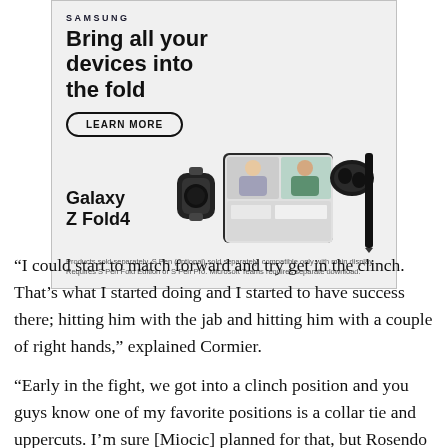[Figure (illustration): Samsung advertisement banner showing Galaxy Z Fold4 with watch, earbuds, and stylus. Headline: 'Bring all your devices into the fold' with a LEARN MORE button. Disclaimer text at bottom.]
“I could start to match forward and try get in the clinch. That’s what I started doing and I started to have success there; hitting him with the jab and hitting him with a couple of right hands,” explained Cormier.
“Early in the fight, we got into a clinch position and you guys know one of my favorite positions is a collar tie and uppercuts. I’m sure [Miocic] planned for that, but Rosendo